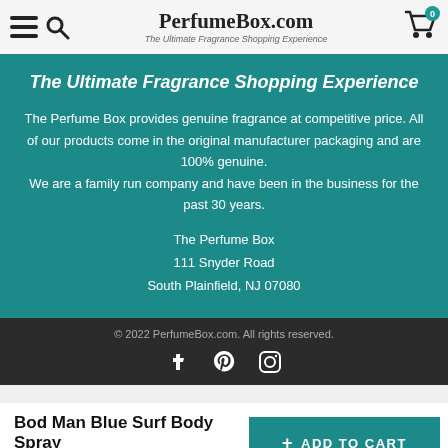PerfumeBox.com — The Ultimate Fragrance Shopping Experience
The Ultimate Fragrance Shopping Experience
The Perfume Box provides genuine fragrance at competitive price. All of our products come in the original manufacturer packaging and are 100% genuine.
We are a family run company and have been in the business for the past 30 years.
The Perfume Box
111 Snyder Road
South Plainfield, NJ 07080
© 2022 PerfumeBox.com. All rights reserved.
Bod Man Blue Surf Body Spray
$8.09 $99.00